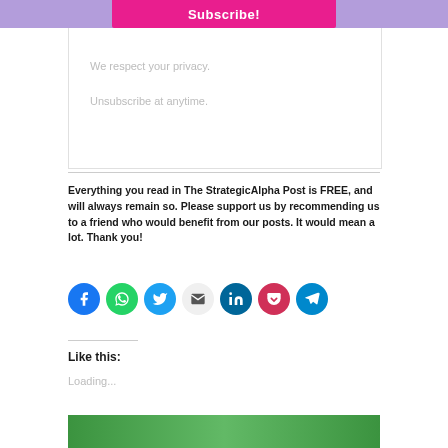Subscribe!
We respect your privacy.
Unsubscribe at anytime.
Everything you read in The StrategicAlpha Post is FREE, and will always remain so. Please support us by recommending us to a friend who would benefit from our posts. It would mean a lot. Thank you!
[Figure (infographic): Row of 7 social sharing icon circles: Facebook (blue), WhatsApp (green), Twitter (light blue), Email (grey), LinkedIn (dark teal), Pocket (red), Telegram (blue)]
Like this:
Loading...
[Figure (photo): Partial bottom image strip showing green/nature scene]